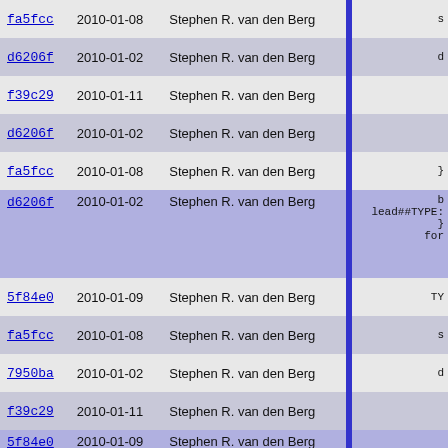| commit | date | author |  | code |
| --- | --- | --- | --- | --- |
| fa5fcc | 2010-01-08 | Stephen R. van den Berg |  | s |
| d6206f | 2010-01-02 | Stephen R. van den Berg |  | d |
| f39c29 | 2010-01-11 | Stephen R. van den Berg |  |  |
| d6206f | 2010-01-02 | Stephen R. van den Berg |  |  |
| fa5fcc | 2010-01-08 | Stephen R. van den Berg |  | } |
| d6206f | 2010-01-02 | Stephen R. van den Berg |  | b
lead##TYPE:
}
for |
| 5f84e0 | 2010-01-09 | Stephen R. van den Berg |  | TY |
| fa5fcc | 2010-01-08 | Stephen R. van den Berg |  | s |
| 7950ba | 2010-01-02 | Stephen R. van den Berg |  | d |
| f39c29 | 2010-01-11 | Stephen R. van den Berg |  |  |
| 5f84e0 | 2010-01-09 | Stephen R. van den Berg |  |  |
| 7950ba | 2010-01-02 | Stephen R. van den Berg |  |  |
| fa5fcc | 2010-01-08 | Stephen R. van den Berg |  | wh |
| dfae9d | 2010-01-02 | Stephen R. van den Berg |  | it |